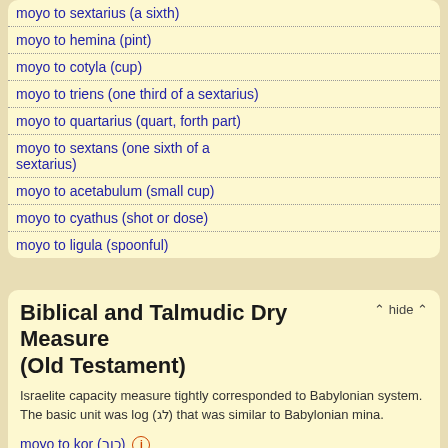moyo to sextarius (a sixth)
moyo to hemina (pint)
moyo to cotyla (cup)
moyo to triens (one third of a sextarius)
moyo to quartarius (quart, forth part)
moyo to sextans (one sixth of a sextarius)
moyo to acetabulum (small cup)
moyo to cyathus (shot or dose)
moyo to ligula (spoonful)
Biblical and Talmudic Dry Measure (Old Testament)
Israelite capacity measure tightly corresponded to Babylonian system. The basic unit was log (לג) that was similar to Babylonian mina.
moyo to kor (כור)
moyo to letek (לתך)
moyo to ephah (איפה)
moyo to se'ah (סאה)